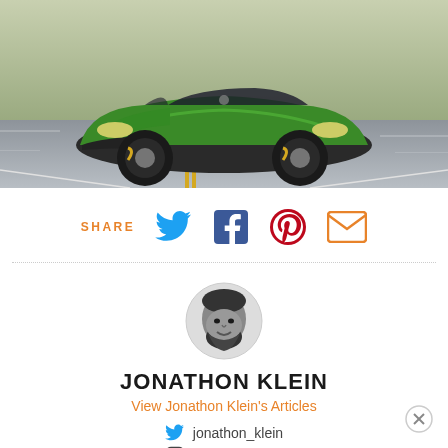[Figure (photo): Green Lotus sports car driving on a road, motion blur on background, photographed from a low front-three-quarter angle. Yellow center lines visible on grey asphalt.]
SHARE
[Figure (infographic): Social share icons: Twitter (blue bird), Facebook (blue f), Pinterest (red P), Email (orange envelope)]
[Figure (photo): Circular black and white headshot photo of Jonathon Klein, a bearded man smiling.]
JONATHON KLEIN
View Jonathon Klein's Articles
jonathon_klein
jonathon_klein